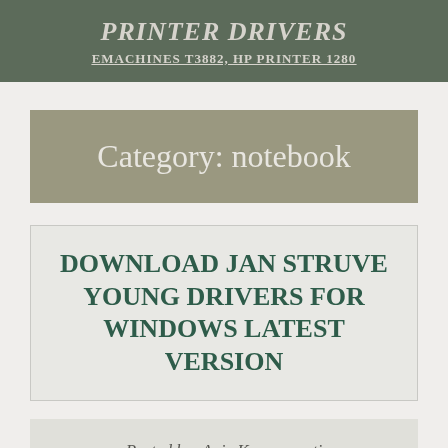PRINTER DRIVERS
EMACHINES T3882, HP PRINTER 1280
Category: notebook
DOWNLOAD JAN STRUVE YOUNG DRIVERS FOR WINDOWS LATEST VERSION
Posted by: Anie Kusumawati